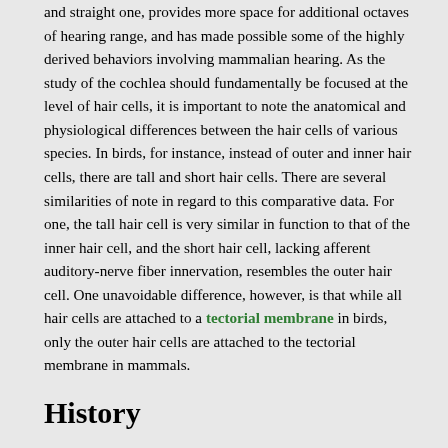and straight one, provides more space for additional octaves of hearing range, and has made possible some of the highly derived behaviors involving mammalian hearing. As the study of the cochlea should fundamentally be focused at the level of hair cells, it is important to note the anatomical and physiological differences between the hair cells of various species. In birds, for instance, instead of outer and inner hair cells, there are tall and short hair cells. There are several similarities of note in regard to this comparative data. For one, the tall hair cell is very similar in function to that of the inner hair cell, and the short hair cell, lacking afferent auditory-nerve fiber innervation, resembles the outer hair cell. One unavoidable difference, however, is that while all hair cells are attached to a tectorial membrane in birds, only the outer hair cells are attached to the tectorial membrane in mammals.
History